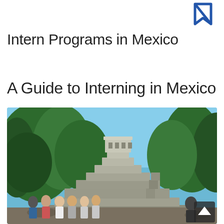[Figure (logo): Blue stylized letter N or bookmark logo in upper right corner]
Intern Programs in Mexico
A Guide to Interning in Mexico
[Figure (photo): Group of students/interns posing in front of a large stepped Mayan pyramid (resembling Palenque) surrounded by green trees under a bright blue sky. A scroll-up arrow button is visible in the bottom right corner of the image.]